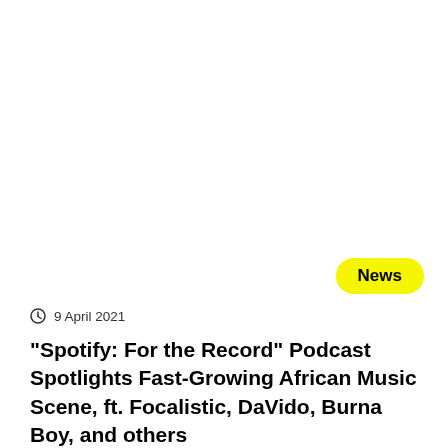News
9 April 2021
“Spotify: For the Record” Podcast Spotlights Fast-Growing African Music Scene, ft. Focalistic, DaVido, Burna Boy, and others